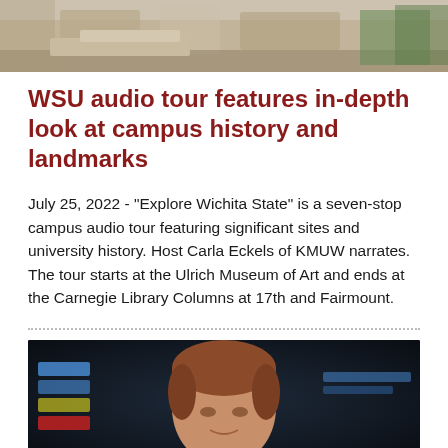[Figure (photo): Top partial campus/outdoor photo showing concrete structures and foliage]
WSU audio tour features in-depth look at campus history and landmarks
July 25, 2022 - “Explore Wichita State” is a seven-stop campus audio tour featuring significant sites and university history. Host Carla Eckels of KMUW narrates. The tour starts at the Ulrich Museum of Art and ends at the Carnegie Library Columns at 17th and Fairmount.
[Figure (photo): Bottom partial photo of a young man with reddish-brown hair against a dark background with colored display elements]